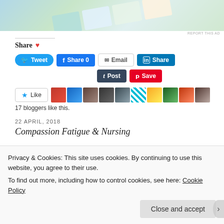[Figure (photo): Advertisement banner image showing colorful cards/books at an angle]
REPORT THIS AD
Share ♥
[Figure (screenshot): Social sharing buttons: Tweet, Share 0, Email, Share (LinkedIn), Post (Tumblr), Save (Pinterest)]
[Figure (screenshot): Like button with star icon and 10 blogger avatar thumbnails]
17 bloggers like this.
22 APRIL, 2018
Compassion Fatigue & Nursing
Privacy & Cookies: This site uses cookies. By continuing to use this website, you agree to their use.
To find out more, including how to control cookies, see here: Cookie Policy